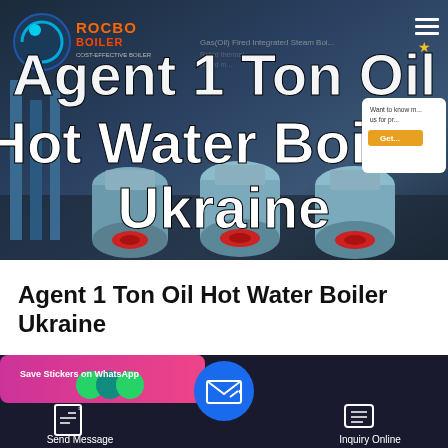[Figure (screenshot): Hero banner of Rocbo Boiler website showing industrial steam boilers in background with large white bold text overlay reading 'Agent 1 Ton Oil Hot Water Boiler Ukraine'. Logo visible top-left with orange brand name ROCBO BOILER. Navigation hamburger menu top-right. Small popup widget on right side. Dark industrial background.]
Agent 1 Ton Oil Hot Water Boiler Ukraine
[Figure (screenshot): Bottom navigation bar of website with dark background. Left section shows pink/purple WhatsApp promotional card 'Save Stickers on WhatsApp'. Left button: Send Message with document icon. Center: circular blue email/message button. Right button: Inquiry Online with chat icon.]